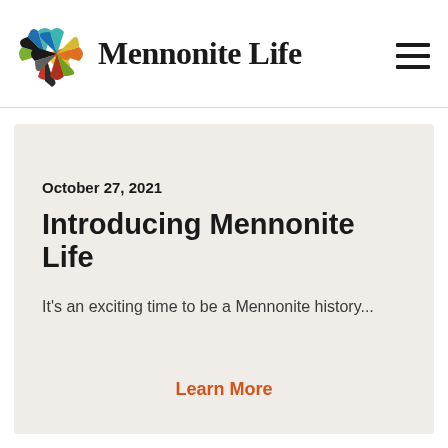Mennonite Life
October 27, 2021
Introducing Mennonite Life
It's an exciting time to be a Mennonite history...
Learn More